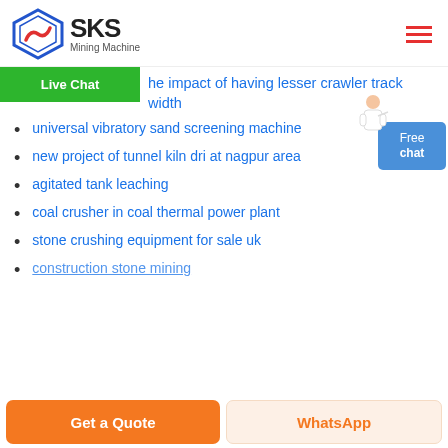SKS Mining Machine
Live Chat — the impact of having lesser crawler track width
universal vibratory sand screening machine
new project of tunnel kiln dri at nagpur area
agitated tank leaching
coal crusher in coal thermal power plant
stone crushing equipment for sale uk
construction stone mining
Get a Quote | WhatsApp